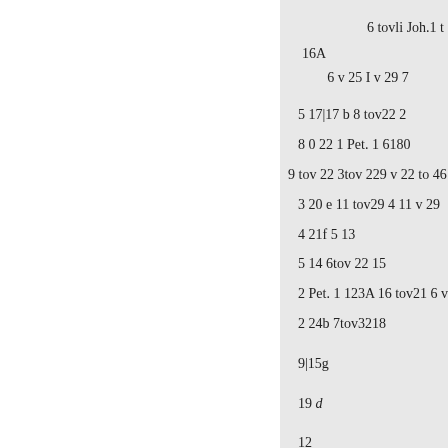6 tovli Joh.1 t
16A
6 v 25 I v 29 7
5 17|17 b 8 tov22 2
8 0 22 1 Pet. 1 6180
9 tov 22 3tov 229 v 22 to 46 2 9
3 20 e 11 tov29 4 11 v 29
4 21f 5 13
5 14 6tov 22 15
2 Pet. 1 123A 16 tov21 6 v 22
2 24b 7tov3218
9|15g
19 d
12